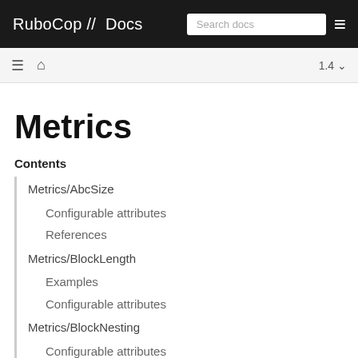RuboCop // Docs
Metrics
Contents
Metrics/AbcSize
Configurable attributes
References
Metrics/BlockLength
Examples
Configurable attributes
Metrics/BlockNesting
Configurable attributes
References
Metrics/ClassLength